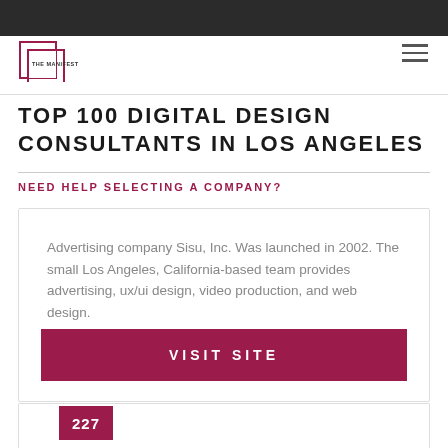THE MANIFEST
TOP 100 DIGITAL DESIGN CONSULTANTS IN LOS ANGELES
NEED HELP SELECTING A COMPANY?
Advertising company Sisu, Inc. Was launched in 2002. The small Los Angeles, California-based team provides advertising, ux/ui design, video production, and web design.
VISIT SITE